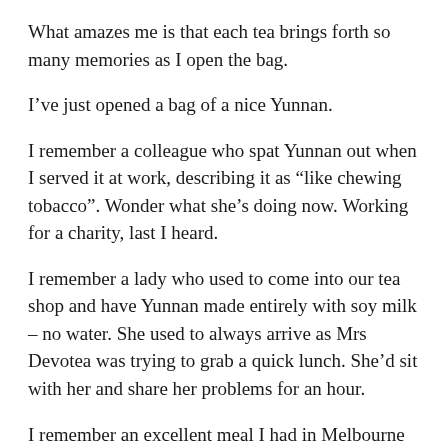What amazes me is that each tea brings forth so many memories as I open the bag.
I've just opened a bag of a nice Yunnan.
I remember a colleague who spat Yunnan out when I served it at work, describing it as “like chewing tobacco”. Wonder what she’s doing now. Working for a charity, last I heard.
I remember a lady who used to come into our tea shop and have Yunnan made entirely with soy milk – no water. She used to always arrive as Mrs Devotea was trying to grab a quick lunch. She’d sit with her and share her problems for an hour.
I remember an excellent meal I had in Melbourne in April 2010 to accompanied by a Black Dragon Oolong and a Yunnan. The little pork dumplings were particularly fine. Must go back there next time I’m in